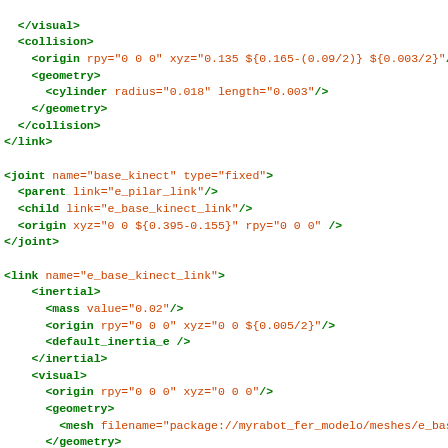XML/URDF robot model code snippet showing visual, collision, joint, and link definitions for a robotics model (myrabot_fer_modelo)